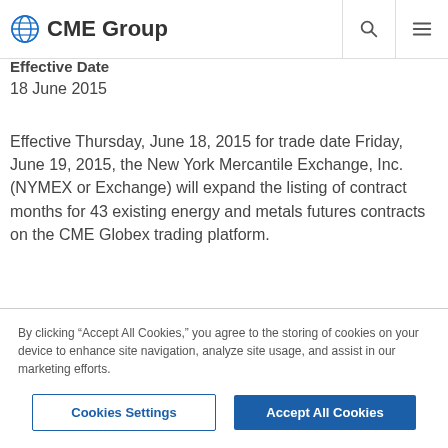CME Group
Effective Date
18 June 2015
Effective Thursday, June 18, 2015 for trade date Friday, June 19, 2015, the New York Mercantile Exchange, Inc. (NYMEX or Exchange) will expand the listing of contract months for 43 existing energy and metals futures contracts on the CME Globex trading platform.
By clicking “Accept All Cookies,” you agree to the storing of cookies on your device to enhance site navigation, analyze site usage, and assist in our marketing efforts.